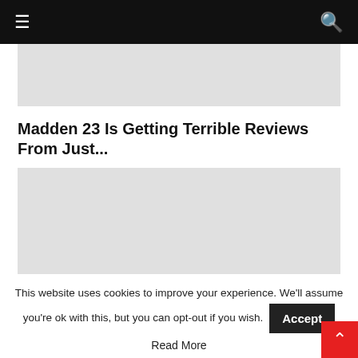≡ [navigation bar with hamburger menu and search icon]
[Figure (photo): Top image placeholder - light gray rectangle]
Madden 23 Is Getting Terrible Reviews From Just...
[Figure (photo): Main article image placeholder - light gray rectangle]
This website uses cookies to improve your experience. We'll assume you're ok with this, but you can opt-out if you wish.  Accept  Read More